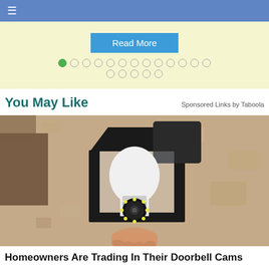≡
[Figure (screenshot): Read More button with pagination dots on a light yellow background. First row has 13 circles (first filled green), second row has 5 empty circles.]
You May Like
Sponsored Links by Taboola
[Figure (photo): A security camera shaped like a light bulb installed in a black outdoor lantern fixture mounted on a stone or stucco wall. A hand holds the bulb-camera from below.]
Homeowners Are Trading In Their Doorbell Cams